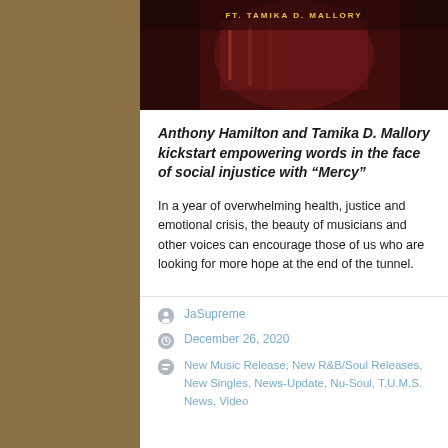[Figure (photo): Photo of a person featuring decorative red and black patterned clothing, with text overlay 'FT. TAMIKA D. MALLORY' in gold letters]
Anthony Hamilton and Tamika D. Mallory kickstart empowering words in the face of social injustice with “Mercy”
In a year of overwhelming health, justice and emotional crisis, the beauty of musicians and other voices can encourage those of us who are looking for more hope at the end of the tunnel.
JaSupreme
December 26, 2020
New Music Release, New R&B/Soul Releases, New Singles, News-Update, Nu-Soul, T.U.M.S. News, Video